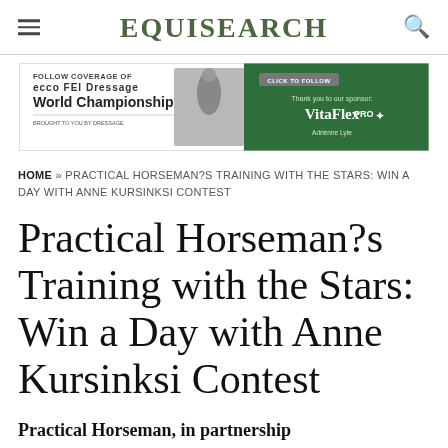EQUISEARCH
[Figure (screenshot): Advertisement banner for ECCO FEI Dressage World Championships with Vita Flex PRO sponsor and Adrienne Lyle, featuring green right panel with click to follow button]
HOME » PRACTICAL HORSEMAN?S TRAINING WITH THE STARS: WIN A DAY WITH ANNE KURSINKSI CONTEST
Practical Horseman?s Training with the Stars: Win a Day with Anne Kursinksi Contest
Practical Horseman, in partnership